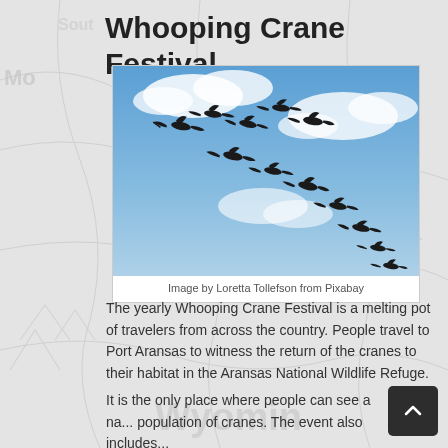Whooping Crane Festival
[Figure (photo): Silhouettes of whooping cranes in flight against a blue sky with clouds, arranged in a diagonal formation]
Image by Loretta Tollefson from Pixabay
The yearly Whooping Crane Festival is a melting pot of travelers from across the country. People travel to Port Aransas to witness the return of the cranes to their habitat in the Aransas National Wildlife Refuge.
It is the only place where people can see a na... population of cranes. The event also includes...